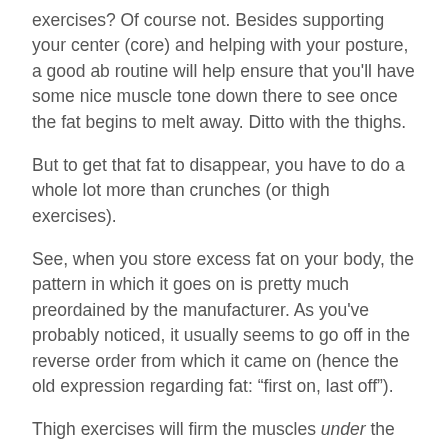exercises? Of course not. Besides supporting your center (core) and helping with your posture, a good ab routine will help ensure that you'll have some nice muscle tone down there to see once the fat begins to melt away. Ditto with the thighs.
But to get that fat to disappear, you have to do a whole lot more than crunches (or thigh exercises).
See, when you store excess fat on your body, the pattern in which it goes on is pretty much preordained by the manufacturer. As you've probably noticed, it usually seems to go off in the reverse order from which it came on (hence the old expression regarding fat: “first on, last off”).
Thigh exercises will firm the muscles under the jiggle, just as crunches will firm the stomach muscles, but